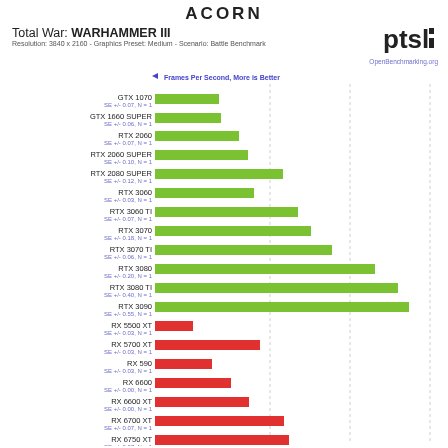ACORN
Total War: WARHAMMER III
Resolution: 3840 x 2160 - Graphics Preset: Medium - Scenario: Battle Benchmark
[Figure (bar-chart): Frames Per Second, More is Better]